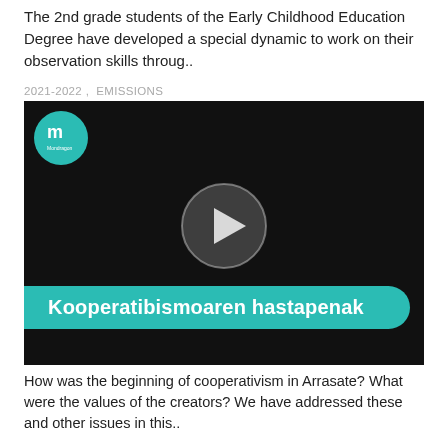The 2nd grade students of the Early Childhood Education Degree have developed a special dynamic to work on their observation skills throug..
2021-2022 ,  EMISSIONS
[Figure (screenshot): Video thumbnail showing a man in a dark shirt seated against a black background, with a teal Mondragon Unibertsitatea logo circle in the top-left corner, a large play button overlay in the center, and a teal rounded banner at the bottom reading 'Kooperatibismoaren hastapenak']
How was the beginning of cooperativism in Arrasate? What were the values of the creators? We have addressed these and other issues in this..